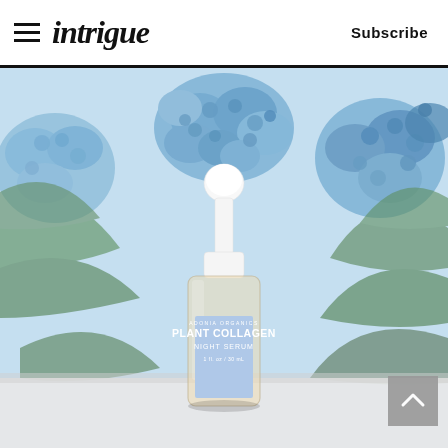intrigue | Subscribe
[Figure (photo): A glass dropper bottle of Adonia Organics Plant Collagen Night Serum with a white dropper cap, sitting on a marble-like surface against a background of blue hydrangea flowers. The bottle has a light blue label reading ADONIA ORGANICS PLANT COLLAGEN NIGHT SERUM 1 fl. oz / 30 mL.]